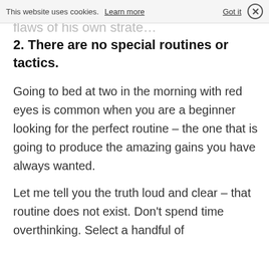This website uses cookies. Learn more  Got it  ×
flaws of his own strate…
2. There are no special routines or tactics.
Going to bed at two in the morning with red eyes is common when you are a beginner looking for the perfect routine – the one that is going to produce the amazing gains you have always wanted.
Let me tell you the truth loud and clear – that routine does not exist. Don't spend time overthinking. Select a handful of